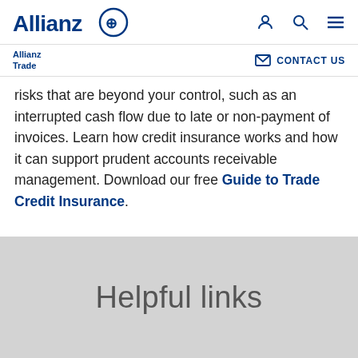Allianz logo navigation bar with user, search, and menu icons
Allianz Trade | CONTACT US
risks that are beyond your control, such as an interrupted cash flow due to late or non-payment of invoices. Learn how credit insurance works and how it can support prudent accounts receivable management. Download our free Guide to Trade Credit Insurance.
Helpful links